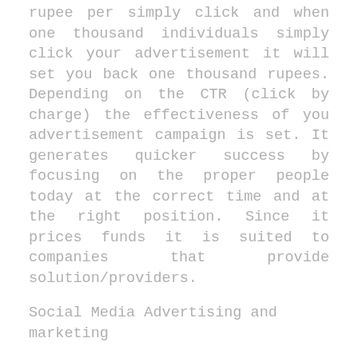rupee per simply click and when one thousand individuals simply click your advertisement it will set you back one thousand rupees. Depending on the CTR (click by charge) the effectiveness of you advertisement campaign is set. It generates quicker success by focusing on the proper people today at the correct time and at the right position. Since it prices funds it is suited to companies that provide solution/providers.
Social Media Advertising and marketing
The process of promoting via several social networking platforms for instance Facebook, Twitter, and Instagram is referred to as Social Media Advertising and marketing. The primary goal of SMM is to generate material on social media marketing that aid a corporation to boost model recognition and consumer get to. In social networking